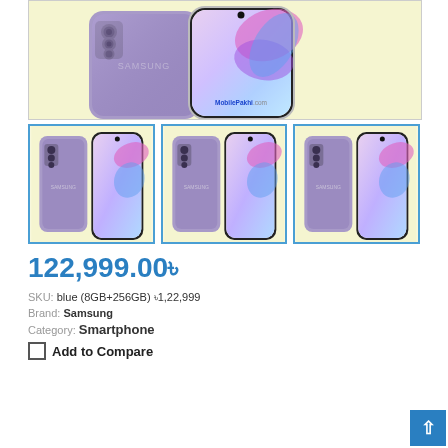[Figure (photo): Main product image of Samsung Galaxy S21 in violet/purple color, showing back and front view of the phone against a light yellow background. Watermark reads MobilePakhi.com]
[Figure (photo): Thumbnail 1: Samsung Galaxy S21 violet, back and front view on yellow background, highlighted with blue border]
[Figure (photo): Thumbnail 2: Samsung Galaxy S21 violet, back and front view on yellow background]
[Figure (photo): Thumbnail 3: Samsung Galaxy S21 violet, back and front view on yellow background]
122,999.00৳
SKU: blue (8GB+256GB) ৳1,22,999
Brand: Samsung
Category: Smartphone
Add to Compare